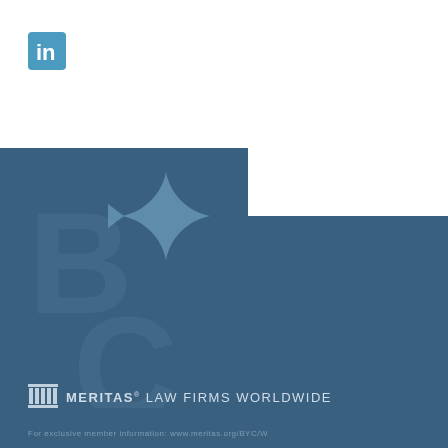[Figure (logo): LinkedIn icon - blue rounded square with 'in' text in white]
[Figure (logo): BYC law firm watermark logo in muted blue on dark blue background, showing large letters B, Y, C with a four-pointed star/compass rose shape]
[Figure (logo): Meritas Law Firms Worldwide logo with pillar/temple icon in light blue/grey on dark blue background]
For exclusive member information: www.meritas.org/BYC/W